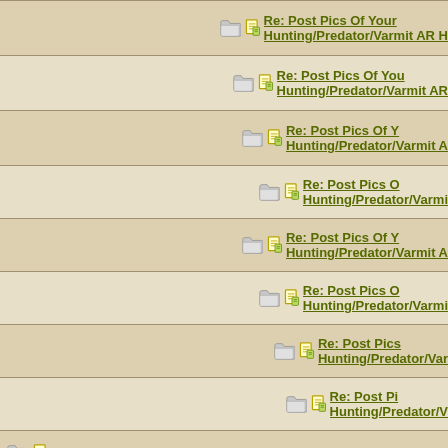Re: Post Pics Of Your Hunting/Predator/Varmit AR H...
Re: Post Pics Of Your Hunting/Predator/Varmit AR...
Re: Post Pics Of Your Hunting/Predator/Varmit A...
Re: Post Pics O... Hunting/Predator/Varmi...
Re: Post Pics Of Y... Hunting/Predator/Varmit A...
Re: Post Pics O... Hunting/Predator/Varmi...
Re: Post Pics... Hunting/Predator/Var...
Re: Post Pi... Hunting/Predator/V...
Re: Post Pics Of Your Hunting/Predator/Varmit AR Here !!
Re: Post Pics Of Your Hunting/Predator/Varmit AR Here
Re: Post Pics Of Your Hunting/Predator/Varmit AR Here !!
Re: Post Pics Of Your Hunting/Predator/Varmit AR Here !!
Re: Post Pics Of Your Hunting/Predator/Varmit AR Here !!